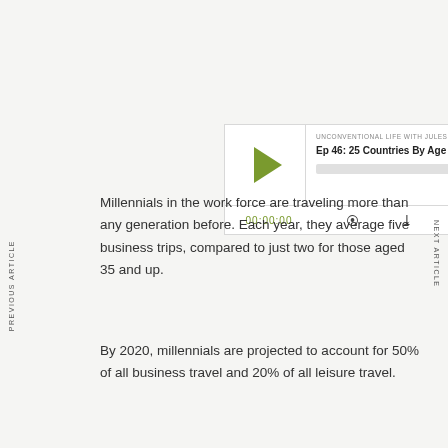[Figure (screenshot): Podcast player widget for 'Unconventional Life with Jules Schroeder', episode 'Ep 46: 25 Countries By Age 25: How ...' with play button, progress bar, time display 00:00:00, and control icons]
Millennials in the work force are traveling more than any generation before. Each year, they average five business trips, compared to just two for those aged 35 and up.
By 2020, millennials are projected to account for 50% of all business travel and 20% of all leisure travel.